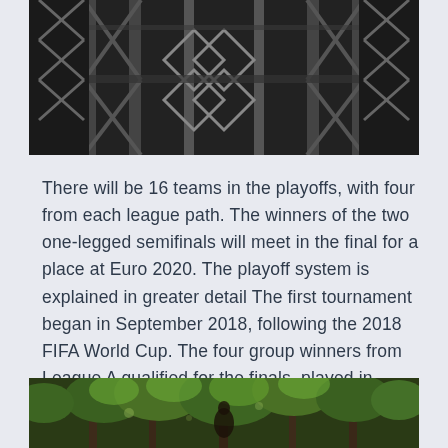[Figure (photo): Black and white photo of a steel lattice tower or bridge structure shot from below]
There will be 16 teams in the playoffs, with four from each league path. The winners of the two one-legged semifinals will meet in the final for a place at Euro 2020. The playoff system is explained in greater detail The first tournament began in September 2018, following the 2018 FIFA World Cup. The four group winners from League A qualified for the finals, played in Portugal in June 2019.
[Figure (photo): Color photo of trees with green foliage in a forest setting]